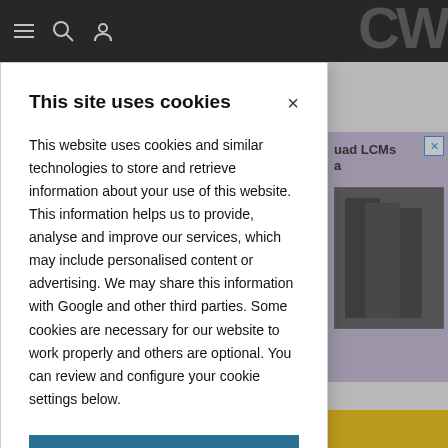[Figure (screenshot): Website navigation header bar with hamburger menu, search icon, and user icon on dark background, with partial logo visible top right]
This site uses cookies
This website uses cookies and similar technologies to store and retrieve information about your use of this website. This information helps us to provide, analyse and improve our services, which may include personalised content or advertising. We may share this information with Google and other third parties. Some cookies are necessary for our website to work properly and others are optional. You can review and configure your cookie settings below.
OK
COOKIE SETTINGS